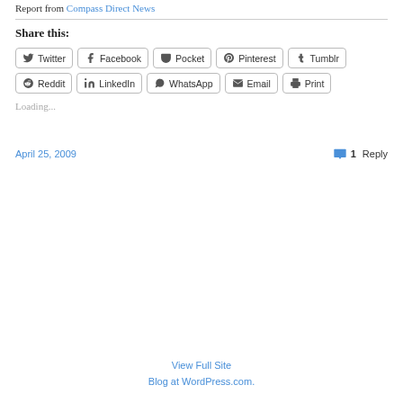Report from Compass Direct News
Share this:
Twitter Facebook Pocket Pinterest Tumblr Reddit LinkedIn WhatsApp Email Print
Loading...
April 25, 2009
1 Reply
View Full Site
Blog at WordPress.com.